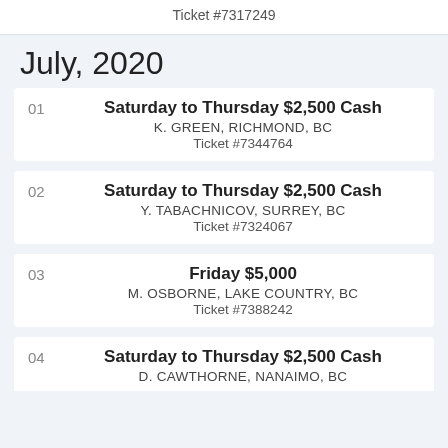Ticket #7317249
July, 2020
01 Saturday to Thursday $2,500 Cash
K. GREEN, RICHMOND, BC
Ticket #7344764
02 Saturday to Thursday $2,500 Cash
Y. TABACHNICOV, SURREY, BC
Ticket #7324067
03 Friday $5,000
M. OSBORNE, LAKE COUNTRY, BC
Ticket #7388242
04 Saturday to Thursday $2,500 Cash
D. CAWTHORNE, NANAIMO, BC